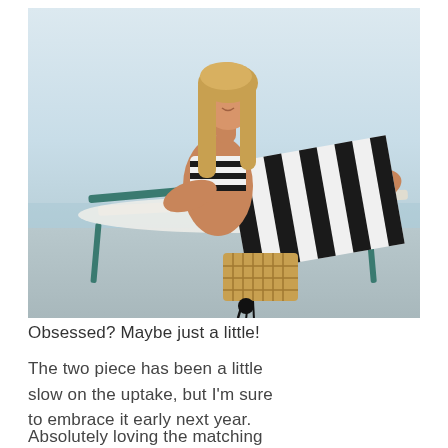[Figure (photo): A model with long blonde hair reclines on a white lounge chair outdoors. She wears a black and white striped bikini top and matching wide-leg striped pants, holding a woven straw clutch bag with black tassels. The background shows a light blue sky and water.]
Obsessed? Maybe just a little!
The two piece has been a little slow on the uptake, but I'm sure to embrace it early next year.
Absolutely loving the matching